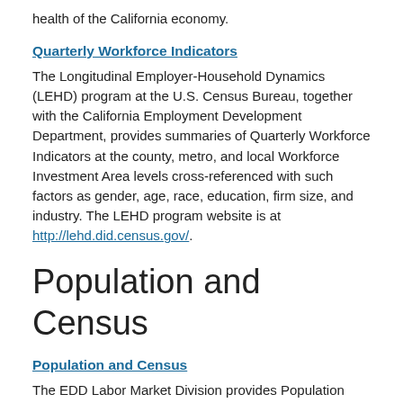health of the California economy.
Quarterly Workforce Indicators
The Longitudinal Employer-Household Dynamics (LEHD) program at the U.S. Census Bureau, together with the California Employment Development Department, provides summaries of Quarterly Workforce Indicators at the county, metro, and local Workforce Investment Area levels cross-referenced with such factors as gender, age, race, education, firm size, and industry. The LEHD program website is at http://lehd.did.census.gov/.
Population and Census
Population and Census
The EDD Labor Market Division provides Population and Census data that describe the characteristics of the people living in a geographic area. These characteristics include race/ethnicity, income, where they work, gender, and more. To find current California state and local, by county and district...